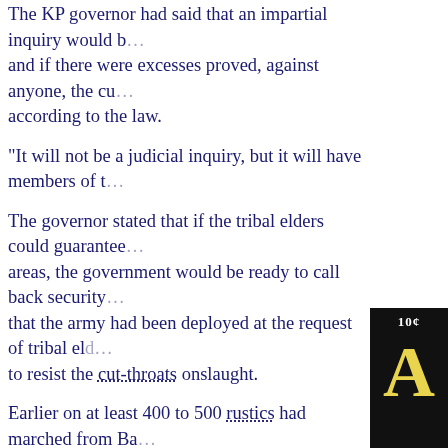The KP governor had said that an impartial inquiry would be held and if there were excesses proved, against anyone, the culprits according to the law.
"It will not be a judicial inquiry, but it will have members of the...
The governor stated that if the tribal elders could guarantee peace in the areas, the government would be ready to call back security forces. He added that the army had been deployed at the request of tribal elders themselves to resist the cut-throats onslaught.
Earlier on at least 400 to 500 rustics had marched from Bara to Khyber Pakhtunkhwa bustling provincial capital, carrying the bodies in two pick-ups and demanded justice for the victims.
The protestors accused security forces of the killings and demanded that and authorities provide them justice. Security forces claim that the Lashkar-e-Islam, led by Mangal Bagh ...a former bus driver, now head of the Deobandi ban Islam and the Terror of Khyber Agency... , is behind the murders.
An elderly man, who was also protesting the killings, told Dawn.Com that his colleagues killed were simple labourers who had been killed in their homes
[Figure (photo): Magazine cover showing '10 cents' and large letter 'A' in yellow on dark background]